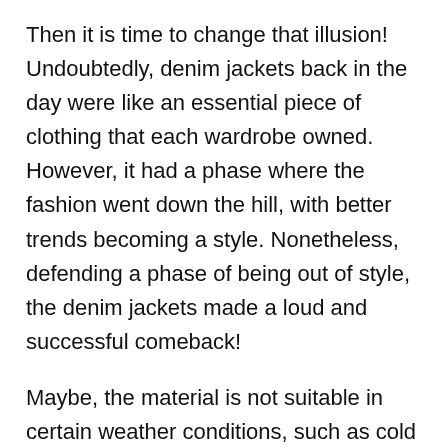Then it is time to change that illusion! Undoubtedly, denim jackets back in the day were like an essential piece of clothing that each wardrobe owned. However, it had a phase where the fashion went down the hill, with better trends becoming a style. Nonetheless, defending a phase of being out of style, the denim jackets made a loud and successful comeback!
Maybe, the material is not suitable in certain weather conditions, such as cold climate. Yet, it is merely about how it benefits one, and more about how it makes one feel. The stiffness and slightly heavy characteristics of the denim jacket make one feel tough, strong, bold and, confident. How amazingly true it is, certain items of clothing directly amplify one's personality.
The designers work in innovative ways to keep these jackets